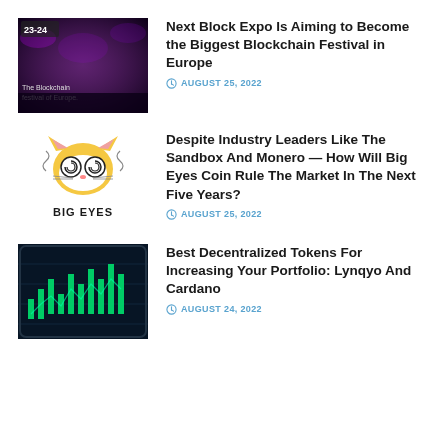[Figure (photo): Blockchain event stage with text '23-24' and 'The Blockchain Festival of Europe.' on a dark background with purple lighting]
Next Block Expo Is Aiming to Become the Biggest Blockchain Festival in Europe
AUGUST 25, 2022
[Figure (illustration): Big Eyes coin logo: cartoon cat face with large swirly eyes, text 'BIG EYES' below]
Despite Industry Leaders Like The Sandbox And Monero — How Will Big Eyes Coin Rule The Market In The Next Five Years?
AUGUST 25, 2022
[Figure (photo): Dark smartphone screen showing cryptocurrency trading chart with green candlesticks on a dark blue background]
Best Decentralized Tokens For Increasing Your Portfolio: Lynqyo And Cardano
AUGUST 24, 2022